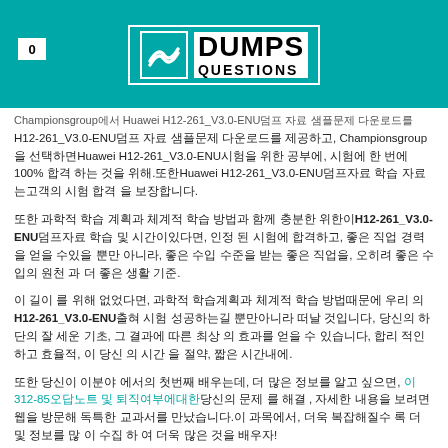0  DUMPS QUESTIONS
Championsgroup에서 Huawei H12-261_V3.0-ENU덤프 자료 샘플문제 다운로드를 제공하고, Championsgroup 을 선택하면Huawei H12-261_V3.0-ENU시험을 위한 공부에, 시험에 한 번에 100% 합격 하는 것을 위해.또한Huawei H12-261_V3.0-ENU덤프자료 학습 자료는고객의 시험 합격 을 보장합니다.
또한 과학적 학습 계획과 체계적 학습 방법과 함께 충분한 위한이H12-261_V3.0-ENU덤프자료 학습 및 시간이있다면, 인정 된 시험에 합격하고, 좋은 직업 경력을 얻을 수있을 뿐만 아니라, 좋은 수입 수준을 받는 좋은 직업을, 오히려 좋은 수입의 원천 과 더 좋은 생활 기준.
이 길이 를 위해 없었다면, 과학적 학습계획과 체계적 학습 방법때문에 우리 의H12-261_V3.0-ENU출혀 시험 성공하는길 뿐만아니라 떠날 것입니다, 당신의 하단의 잘 세운 기초, 그 결과에 따른 최상 의 효과를 얻을 수 있습니다, 합리 적인하고 효율적, 이 당신 의 시간 을 절약, 짧은 시간내에.
또한 당신이 이분야 에서의 첫번째 배우는데, 더 많은 정보를 알고 싶으면, 이312-85오답노트 및 퇴직여부에대한 당신의 문제 를 해결 , 자세한 내용을 보려면 웹을 방문해 독특한 교과서를 만났습니다.이 과목에서, 더욱 복잡해질수 록 더 및 정보를 많 이 수집 하 여 더욱 많은 것을 배우자!